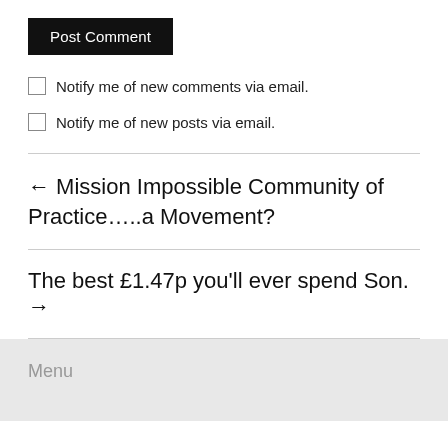Post Comment
Notify me of new comments via email.
Notify me of new posts via email.
← Mission Impossible Community of Practice…..a Movement?
The best £1.47p you'll ever spend Son. →
Menu